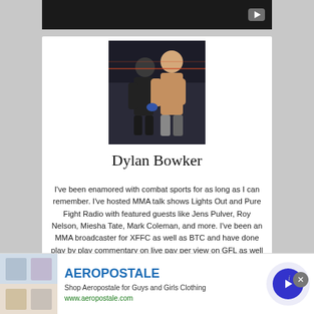[Figure (photo): Two people in an MMA/combat sports setting, one shirtless fighter and another person, dark background]
Dylan Bowker
I've been enamored with combat sports for as long as I can remember. I've hosted MMA talk shows Lights Out and Pure Fight Radio with featured guests like Jens Pulver, Roy Nelson, Miesha Tate, Mark Coleman, and more. I've been an MMA broadcaster for XFFC as well as BTC and have done play by play commentary on live pay per view on GFL as well as FITE TV. I've provided
[Figure (screenshot): Aeropostale advertisement banner showing clothing items and brand name]